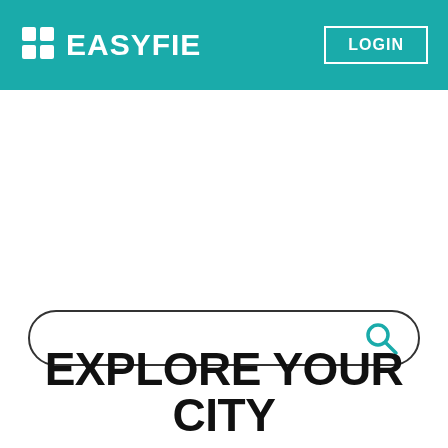EASYFIE LOGIN
[Figure (screenshot): Search bar with teal magnifying glass icon on the right, rounded rectangle border]
EXPLORE YOUR CITY